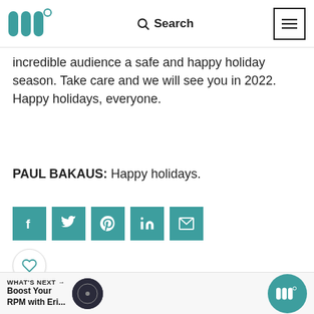Marketable Podcast Logo | Search | Menu
incredible audience a safe and happy holiday season. Take care and we will see you in 2022. Happy holidays, everyone.
PAUL BAKAUS: Happy holidays.
[Figure (infographic): Social sharing buttons: Facebook, Twitter, Pinterest, LinkedIn, Email in teal squares]
[Figure (infographic): Like (heart) button with count 2 and share button]
WHAT'S NEXT → Boost Your RPM with Eri...